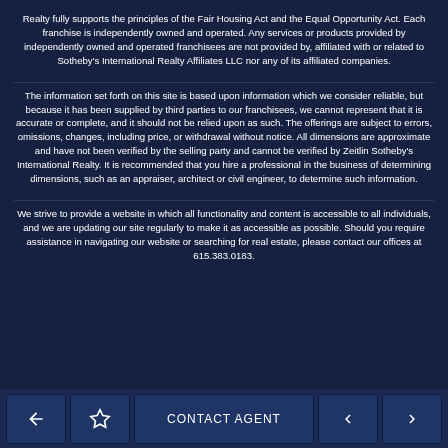Realty fully supports the principles of the Fair Housing Act and the Equal Opportunity Act. Each franchise is independently owned and operated. Any services or products provided by independently owned and operated franchisees are not provided by, affiliated with or related to Sotheby's International Realty Affiliates LLC nor any of its affiliated companies.
The information set forth on this site is based upon information which we consider reliable, but because it has been supplied by third parties to our franchisees, we cannot represent that it is accurate or complete, and it should not be relied upon as such. The offerings are subject to errors, omissions, changes, including price, or withdrawal without notice. All dimensions are approximate and have not been verified by the selling party and cannot be verified by Zeitlin Sotheby's International Realty. It is recommended that you hire a professional in the business of determining dimensions, such as an appraiser, architect or civil engineer, to determine such information.
We strive to provide a website in which all functionality and content is accessible to all individuals, and we are updating our site regularly to make it as accessible as possible. Should you require assistance in navigating our website or searching for real estate, please contact our offices at 615.383.0183.
CONTACT AGENT | navigation buttons